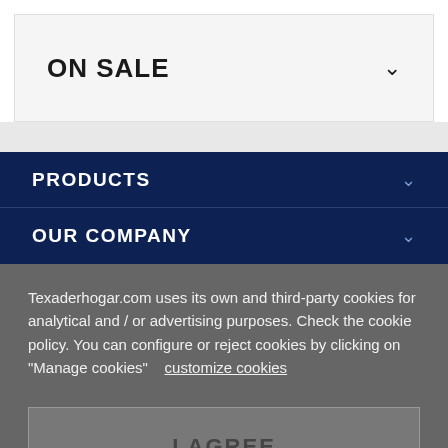ON SALE
PRODUCTS
OUR COMPANY
Texaderhogar.com uses its own and third-party cookies for analytical and / or advertising purposes. Check the cookie policy. You can configure or reject cookies by clicking on "Manage cookies"   customize cookies
I AGREE